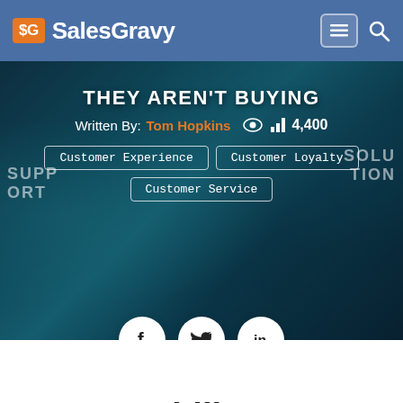$G SalesGravy
[Figure (screenshot): Hero banner image with dark teal hexagon pattern background. Title 'THEY AREN'T BUYING', byline 'Written By: Tom Hopkins', view count 4,400, category tags: Customer Experience, Customer Loyalty, Customer Service. Social share buttons for Facebook, Twitter, LinkedIn below.]
Accountability Keeps Clients Happy